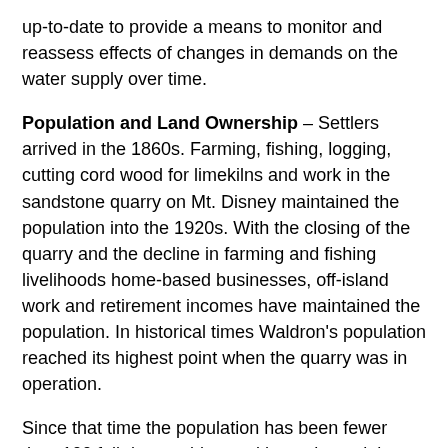up-to-date to provide a means to monitor and reassess effects of changes in demands on the water supply over time.
Population and Land Ownership – Settlers arrived in the 1860s. Farming, fishing, logging, cutting cord wood for limekilns and work in the sandstone quarry on Mt. Disney maintained the population into the 1920s. With the closing of the quarry and the decline in farming and fishing livelihoods home-based businesses, off-island work and retirement incomes have maintained the population. In historical times Waldron's population reached its highest point when the quarry was in operation.
Since that time the population has been fewer than 100 full-time residents with a substantial increase in the summer.
Landowners on Waldron include a mix of full-time and part-